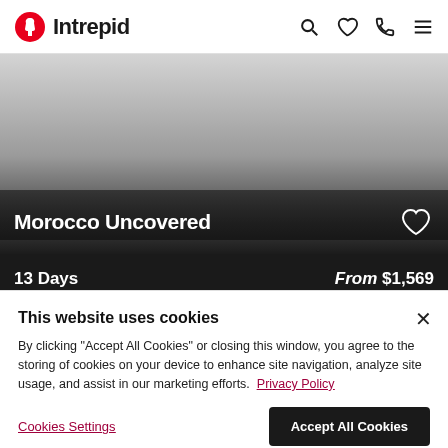Intrepid
[Figure (photo): Gray gradient background image area for Morocco Uncovered tour]
Morocco Uncovered
13 Days   From $1,569
This website uses cookies
By clicking "Accept All Cookies" or closing this window, you agree to the storing of cookies on your device to enhance site navigation, analyze site usage, and assist in our marketing efforts. Privacy Policy
Cookies Settings   Accept All Cookies